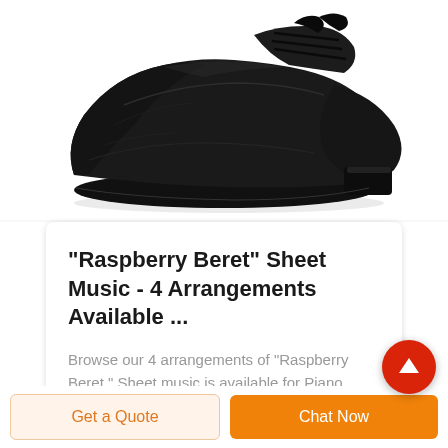[Figure (photo): A black leather dress shoe (oxford/derby style) photographed from the side on a white background. The shoe is dark matte black with laces visible at the top.]
"Raspberry Beret" Sheet Music - 4 Arrangements Available ...
Browse our 4 arrangements of "Raspberry Beret." Sheet music is available for Piano, Voice,